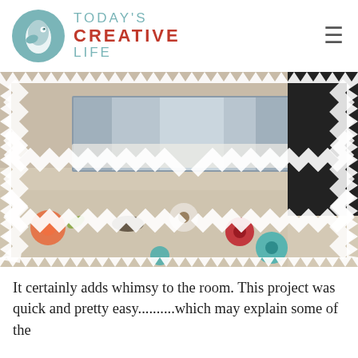TODAY'S CREATIVE LIFE
[Figure (photo): A room interior photo showing a decorative storage ottoman or chest with a bold black-and-white zigzag/chevron pattern overlay effect, a floral area rug on the floor with orange, red and teal flowers, and what appears to be a metallic trunk or chest in the background.]
It certainly adds whimsy to the room. This project was quick and pretty easy..........which may explain some of the mistakes.......But for a start to